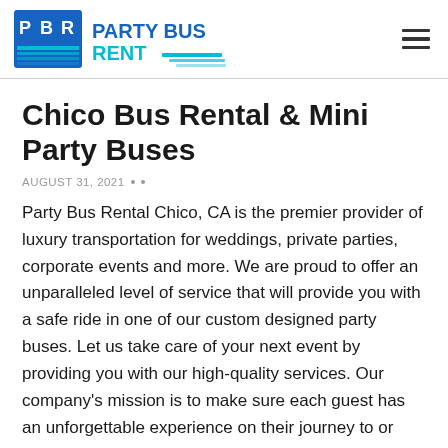PARTY BUS RENT
Chico Bus Rental & Mini Party Buses
AUGUST 31, 2021
Party Bus Rental Chico, CA is the premier provider of luxury transportation for weddings, private parties, corporate events and more. We are proud to offer an unparalleled level of service that will provide you with a safe ride in one of our custom designed party buses. Let us take care of your next event by providing you with our high-quality services. Our company's mission is to make sure each guest has an unforgettable experience on their journey to or from any type of destination!